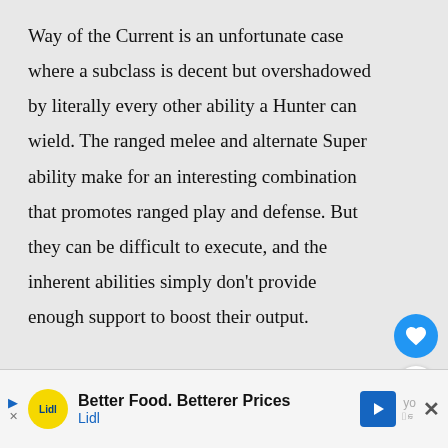Way of the Current is an unfortunate case where a subclass is decent but overshadowed by literally every other ability a Hunter can wield. The ranged melee and alternate Super ability make for an interesting combination that promotes ranged play and defense. But they can be difficult to execute, and the inherent abilities simply don't provide enough support to boost their output.

It's a valiant attempt at an alternate for
[Figure (other): Blue circular floating action button with heart/favorite icon]
[Figure (other): White circular floating action button with share icon]
[Figure (other): Advertisement banner: Lidl - Better Food. Betterer Prices]